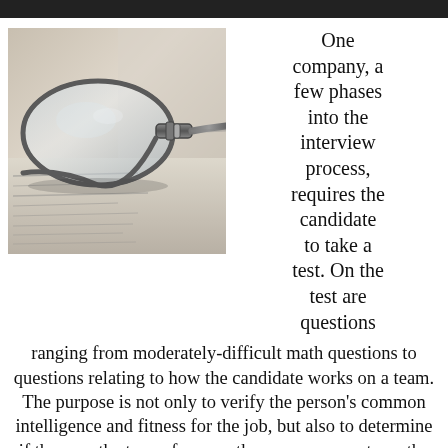[Figure (photo): Close-up photo of metal-framed eyeglasses resting on a printed text page, shallow depth of field with blurred text visible beneath the glasses.]
One company, a few phases into the interview process, requires the candidate to take a test. On the test are questions ranging from moderately-difficult math questions to questions relating to how the candidate works on a team. The purpose is not only to verify the person's common intelligence and fitness for the job, but also to determine if they are the type of person the company wants on the payroll. Do they have team skills and will they make a good team player?